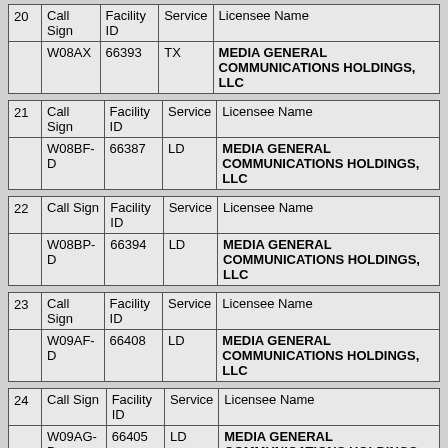|  | Call Sign | Facility ID | Service | Licensee Name |
| --- | --- | --- | --- | --- |
| 20 | W08AX | 66393 | TX | MEDIA GENERAL COMMUNICATIONS HOLDINGS, LLC |
|  | Call Sign | Facility ID | Service | Licensee Name |
| --- | --- | --- | --- | --- |
| 21 | W08BF-D | 66387 | LD | MEDIA GENERAL COMMUNICATIONS HOLDINGS, LLC |
|  | Call Sign | Facility ID | Service | Licensee Name |
| --- | --- | --- | --- | --- |
| 22 | W08BP-D | 66394 | LD | MEDIA GENERAL COMMUNICATIONS HOLDINGS, LLC |
|  | Call Sign | Facility ID | Service | Licensee Name |
| --- | --- | --- | --- | --- |
| 23 | W09AF-D | 66408 | LD | MEDIA GENERAL COMMUNICATIONS HOLDINGS, LLC |
|  | Call Sign | Facility ID | Service | Licensee Name |
| --- | --- | --- | --- | --- |
| 24 | W09AG-D | 66405 | LD | MEDIA GENERAL COMMUNICATIONS HOLDINGS, LLC |